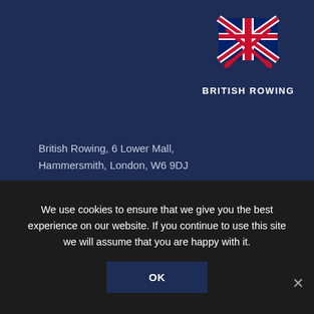[Figure (logo): British Rowing logo: Union Jack flag with crossed oars overlay, text BRITISH ROWING below]
British Rowing, 6 Lower Mall,
Hammersmith, London, W6 9DJ
Telephone: 020 8237 6700
Fax: 020 8237 6749
About Us
Contact Us
Safety
Jobs & Volunteer Opportunities
Our Partners
GB Rowing Team
We use cookies to ensure that we give you the best experience on our website. If you continue to use this site we will assume that you are happy with it.